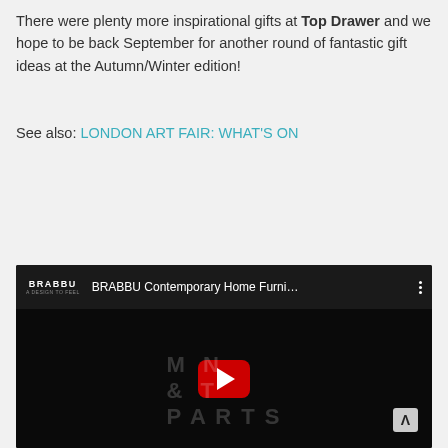There were plenty more inspirational gifts at Top Drawer and we hope to be back September for another round of fantastic gift ideas at the Autumn/Winter edition!
See also: LONDON ART FAIR: WHAT'S ON
[Figure (screenshot): Embedded YouTube video thumbnail showing BRABBU Contemporary Home Furni... with a red play button in the center, BRABBU logo in top left, and a badge with letter A in bottom right. Dark background with faint text overlay.]